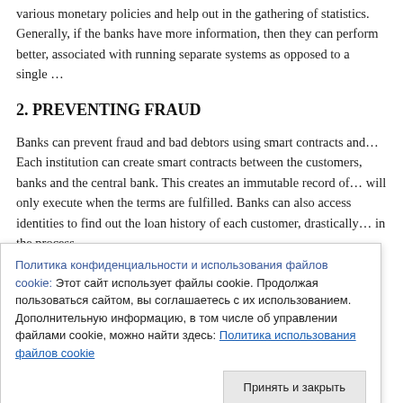various monetary policies and help out in the gathering of statistics. Generally, if the banks have more information, then they can perform better, associated with running separate systems as opposed to a single...
2. PREVENTING FRAUD
Banks can prevent fraud and bad debtors using smart contracts and... Each institution can create smart contracts between the customers, banks and the central bank. This creates an immutable record of transactions that will only execute when the terms are fulfilled. Banks can also access digital identities to find out the loan history of each customer, drastically reducing risk in the process.
Политика конфиденциальности и использования файлов cookie: Этот сайт использует файлы cookie. Продолжая пользоваться сайтом, вы соглашаетесь с их использованием.
Дополнительную информацию, в том числе об управлении файлами cookie, можно найти здесь: Политика использования файлов cookie
3. ELIMINATING SHADOW BANKING